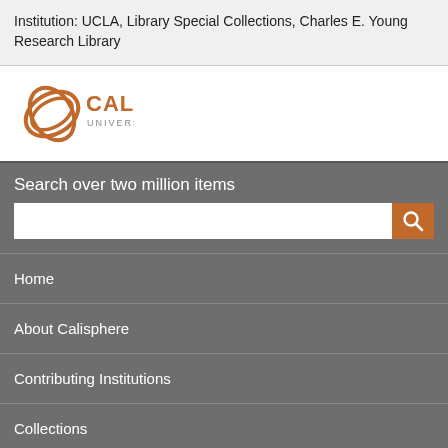Institution: UCLA, Library Special Collections, Charles E. Young Research Library
[Figure (logo): Calisphere logo with circular orange wave icon and text: CALISPHERE UNIVERSITY OF CALIFORNIA]
Search over two million items
Home
About Calisphere
Contributing Institutions
Collections
Exhibitions